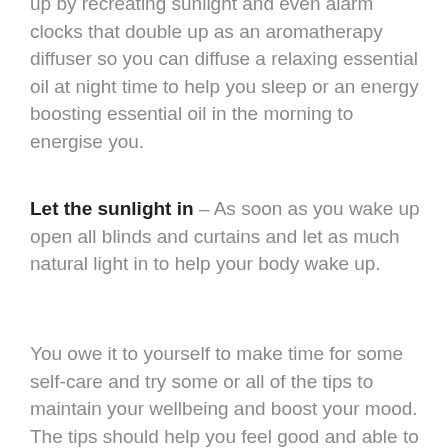up by recreating sunlight and even alarm clocks that double up as an aromatherapy diffuser so you can diffuse a relaxing essential oil at night time to help you sleep or an energy boosting essential oil in the morning to energise you.
Let the sunlight in – As soon as you wake up open all blinds and curtains and let as much natural light in to help your body wake up.
You owe it to yourself to make time for some self-care and try some or all of the tips to maintain your wellbeing and boost your mood. The tips should help you feel good and able to enjoy the positives and